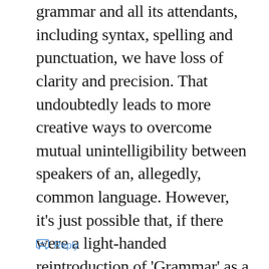grammar and all its attendants, including syntax, spelling and punctuation, we have loss of clarity and precision. That undoubtedly leads to more creative ways to overcome mutual unintelligibility between speakers of an, allegedly, common language. However, it’s just possible that, if there were a light-handed reintroduction of ‘Grammar’ as a school subject, the same creativity might be put to more worthwhile use.
Reply